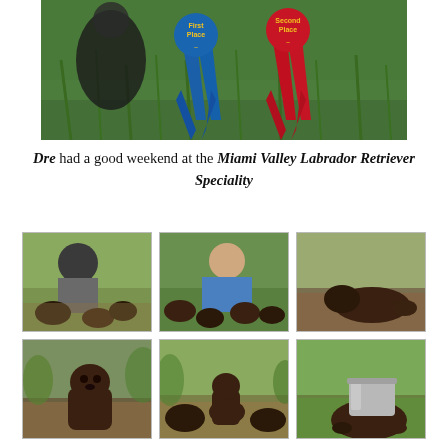[Figure (photo): Dog show ribbons — a blue 'First Place' ribbon and a red 'Second Place' ribbon displayed in green grass]
Dre had a good weekend at the Miami Valley Labrador Retriever Speciality
[Figure (photo): Person sitting on ground outdoors with several dark Labrador puppies]
[Figure (photo): Person in blue jacket sitting on ground with chocolate Labrador puppies]
[Figure (photo): Chocolate Labrador puppy lying on ground in leaves]
[Figure (photo): Chocolate Labrador puppy sitting in dirt and leaves looking at camera]
[Figure (photo): Several chocolate Labrador puppies resting on ground outdoors]
[Figure (photo): Chocolate Labrador puppy with head inside a metal bucket]